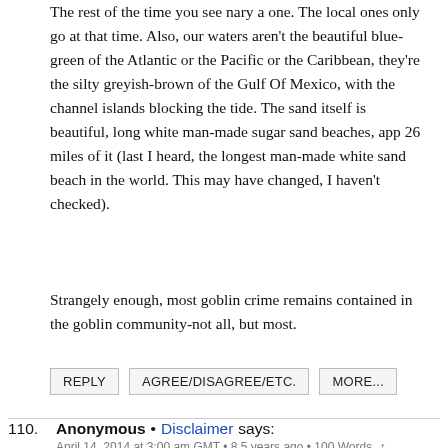The rest of the time you see nary a one. The local ones only go at that time. Also, our waters aren't the beautiful blue-green of the Atlantic or the Pacific or the Caribbean, they're the silty greyish-brown of the Gulf Of Mexico, with the channel islands blocking the tide. The sand itself is beautiful, long white man-made sugar sand beaches, app 26 miles of it (last I heard, the longest man-made white sand beach in the world. This may have changed, I haven't checked).
Strangely enough, most goblin crime remains contained in the goblin community-not all, but most.
REPLY   AGREE/DISAGREE/ETC.   MORE...
110. Anonymous • Disclaimer says:
April 14, 2014 at 3:00 am GMT • 8.5 years ago • 100 Words ↑
Ex New Yorker here….About South Dakota. It is like another planet. Very barren and looks a lot like Nevada. No grass lands. mostly just scrub. I have only been in the Northwestern part of South Dakota and it is kind of a wasteland. The further North